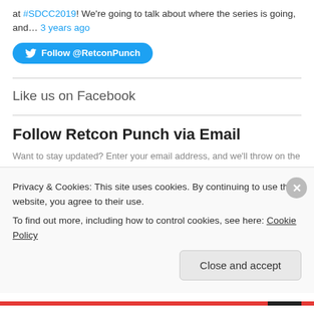at #SDCC2019! We're going to talk about where the series is going, and… 3 years ago
Follow @RetconPunch
Like us on Facebook
Follow Retcon Punch via Email
Want to stay updated? Enter your email address, and we'll throw on the
Privacy & Cookies: This site uses cookies. By continuing to use this website, you agree to their use. To find out more, including how to control cookies, see here: Cookie Policy
Close and accept